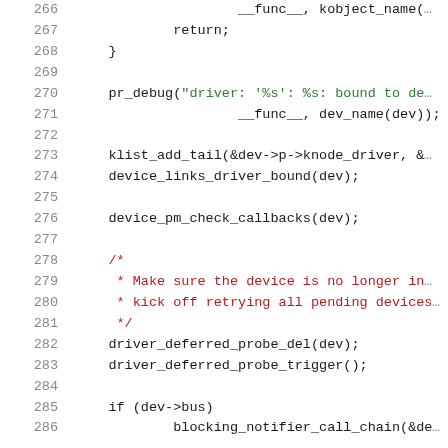[Figure (screenshot): Source code listing (C kernel code) showing lines 266-286 with syntax highlighting. Line numbers in gray on the left, code in black/green/dark-red on the right.]